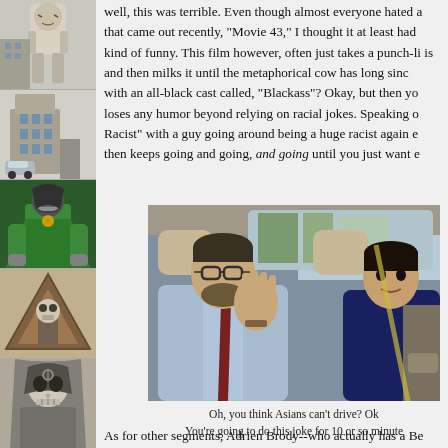[Figure (illustration): Left sidebar with stacked comic/illustration panels: zombie/skeleton figures, a building scene, Dr. Doom-like villain in green, geometric shapes, and hooded skull figure.]
well, this was terrible. Even though almost everyone hated a that came out recently, "Movie 43," I thought it at least had kind of funny. This film however, often just takes a punch-l is and then milks it until the metaphorical cow has long sinc with an all-black cast called, "Blackass"? Okay, but then yo loses any humor beyond relying on racial jokes. Speaking o Racist" with a guy going around being a huge racist again e then keeps going and going, and going until you just want e
[Figure (photo): Photo of two people sitting in the back of a car. A man with glasses and a light blue shirt is gesturing with his hand raised. A woman sits beside him. Car interior visible with seatbelts.]
Oh, you think Asians can't drive? Ok You're going to do this joke for 10 or so minute
As for other segments, Adrien Brody--who actually has a Be